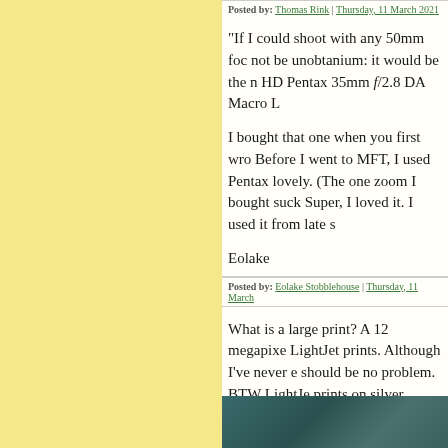Posted by: Thomas Rink | Thursday, 11 March 2021
"If I could shoot with any 50mm foc... not be unobtanium: it would be the n... HD Pentax 35mm f/2.8 DA Macro L...
I bought that one when you first wro... Before I went to MFT, I used Pentax... lovely. (The one zoom I bought suck... Super, I loved it. I used it from late s...
Eolake
Posted by: Eolake Stobblehouse | Thursday, 11 March...
What is a large print? A 12 megapixe... LightJet prints. Although I've never e... should be no problem. BTW LightJe... prints on silver gelatin photo paper.
[Figure (photo): Dark teal/green textured surface, partial view at bottom of page]